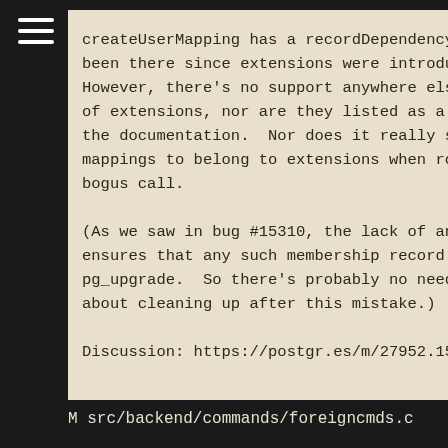createUserMapping has a recordDependency been there since extensions were introdu However, there's no support anywhere els of extensions, nor are they listed as a the documentation.  Nor does it really s mappings to belong to extensions when ro bogus call.

(As we saw in bug #15310, the lack of an ensures that any such membership record pg_upgrade.  So there's probably no need about cleaning up after this mistake.)

Discussion: https://postgr.es/m/27952.15
M src/backend/commands/foreigncmds.c
Fix incorrect...